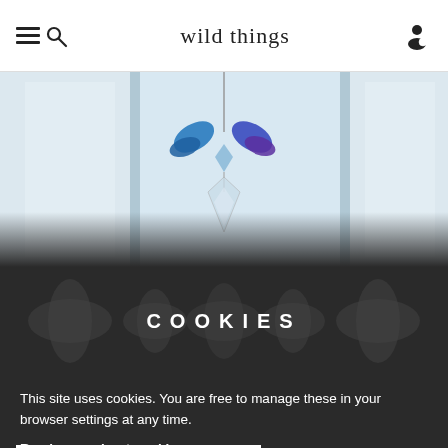wild things
[Figure (photo): Crystal/suncatcher ornament hanging against a light background with blue and purple crystal butterfly shapes, transitioning to dark at bottom]
COOKIES
This site uses cookies. You are free to manage these in your browser settings at any time.
Read more about cookies...
VIEW PRIVACY POLICY
GOT IT
become a stockist...